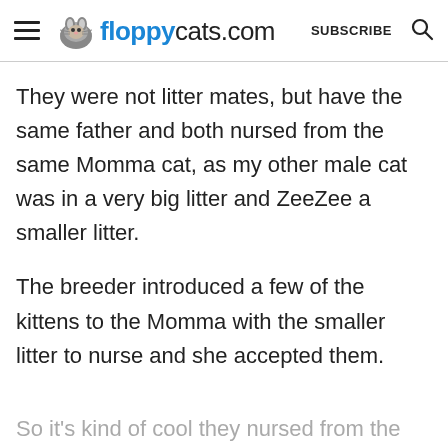floppycats.com  SUBSCRIBE
They were not litter mates, but have the same father and both nursed from the same Momma cat, as my other male cat was in a very big litter and ZeeZee a smaller litter.
The breeder introduced a few of the kittens to the Momma with the smaller litter to nurse and she accepted them.
So it's kind of cool they nursed from the